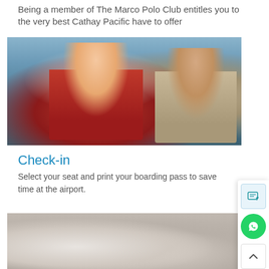Being a member of The Marco Polo Club entitles you to the very best Cathay Pacific have to offer
[Figure (photo): Cathay Pacific staff member in red jacket smiling and scanning a smartphone for a customer at an airport check-in counter]
Check-in
Select your seat and print your boarding pass to save time at the airport.
[Figure (photo): Person using a laptop and tablet in what appears to be an airport lounge or waiting area]